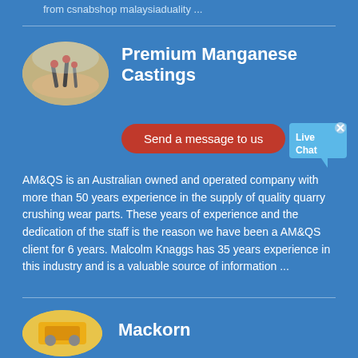from csnabshop malaysiaduality ...
[Figure (photo): Oval thumbnail image of manganese castings / industrial parts on a beach-like setting]
Premium Manganese Castings
Send a message to us
[Figure (illustration): Live Chat speech bubble icon with x close button]
AM&QS is an Australian owned and operated company with more than 50 years experience in the supply of quality quarry crushing wear parts. These years of experience and the dedication of the staff is the reason we have been a AM&QS client for 6 years. Malcolm Knaggs has 35 years experience in this industry and is a valuable source of information ...
[Figure (photo): Oval thumbnail image of yellow industrial machinery or parts]
Mackorn